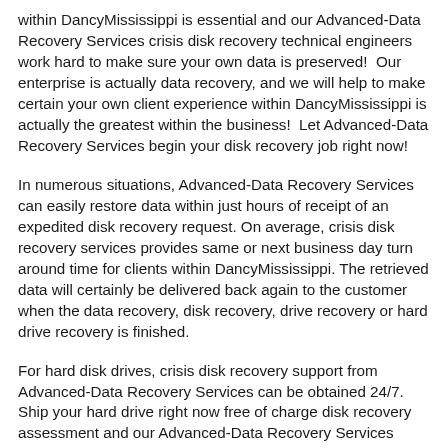within DancyMississippi is essential and our Advanced-Data Recovery Services crisis disk recovery technical engineers work hard to make sure your own data is preserved!  Our enterprise is actually data recovery, and we will help to make certain your own client experience within DancyMississippi is actually the greatest within the business!  Let Advanced-Data Recovery Services begin your disk recovery job right now!
In numerous situations, Advanced-Data Recovery Services can easily restore data within just hours of receipt of an expedited disk recovery request. On average, crisis disk recovery services provides same or next business day turn around time for clients within DancyMississippi. The retrieved data will certainly be delivered back again to the customer when the data recovery, disk recovery, drive recovery or hard drive recovery is finished.
For hard disk drives, crisis disk recovery support from Advanced-Data Recovery Services can be obtained 24/7. Ship your hard drive right now free of charge disk recovery assessment and our Advanced-Data Recovery Services